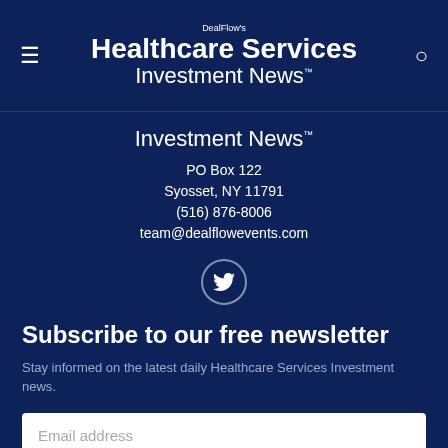DealFlow's Healthcare Services Investment News™
Investment News™
PO Box 122
Syosset, NY 11791
(516) 876-8006
team@dealflowevents.com
[Figure (logo): Twitter bird icon inside a circle]
Subscribe to our free newsletter
Stay informed on the latest daily Healthcare Services Investment news.
Email address